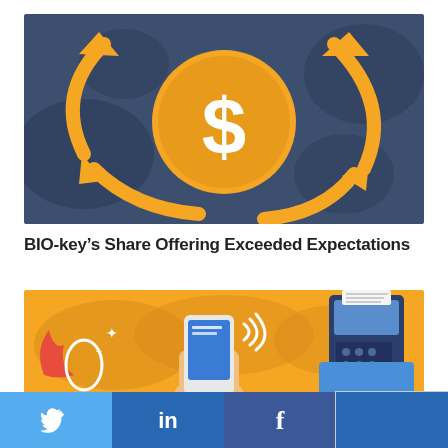[Figure (illustration): Illustration on dark navy/slate blue background showing a large gold coin with a dollar sign ($) in the center, surrounded by circular arrows (gold/amber color) pointing inward, suggesting money circulation or investment. Dark stylized shapes in background.]
BIO-key's Share Offering Exceeded Expectations
[Figure (illustration): Illustration on golden/amber background showing a world map silhouette, a hand holding a smartphone with wireless/NFC signal waves, and a card payment terminal device. Suggests mobile payments and global fintech.]